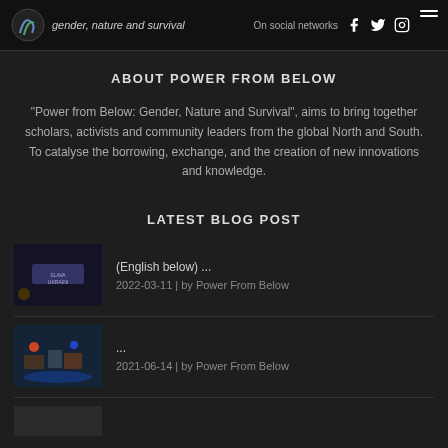gender, nature and survival — On social networks
ABOUT POWER FROM BELOW
“Power from Below: Gender, Nature and Survival”, aims to bring together scholars, activists and community leaders from the global North and South. To catalyse the borrowing, exchange, and the creation of new innovations and knowledge.
LATEST BLOG POST
(English below) ...
2022-03-11 | by Power From Below
...
2021-06-14 | by Power From Below